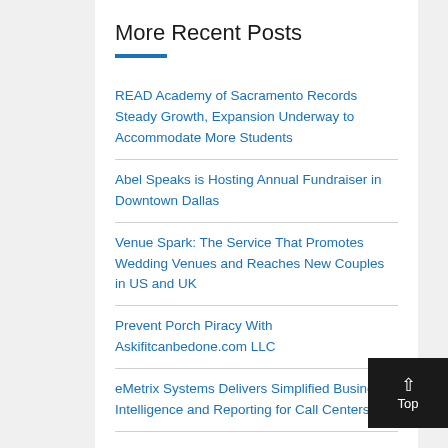More Recent Posts
READ Academy of Sacramento Records Steady Growth, Expansion Underway to Accommodate More Students
Abel Speaks is Hosting Annual Fundraiser in Downtown Dallas
Venue Spark: The Service That Promotes Wedding Venues and Reaches New Couples in US and UK
Prevent Porch Piracy With Askifitcanbedone.com LLC
eMetrix Systems Delivers Simplified Business Intelligence and Reporting for Call Centers